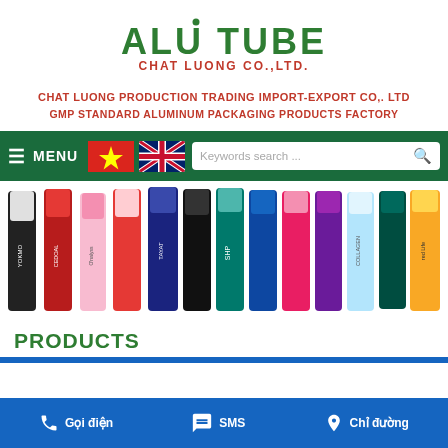[Figure (logo): ALU TUBE Chat Luong Co., Ltd. green logo with red subtitle]
CHAT LUONG PRODUCTION TRADING IMPORT-EXPORT CO,. LTD
GMP STANDARD ALUMINUM PACKAGING PRODUCTS FACTORY
[Figure (screenshot): Green navigation bar with menu, Vietnamese and UK flags, and keyword search box]
[Figure (photo): Row of various aluminum tube products in different colors and designs]
PRODUCTS
Gọi điện  SMS  Chỉ đường